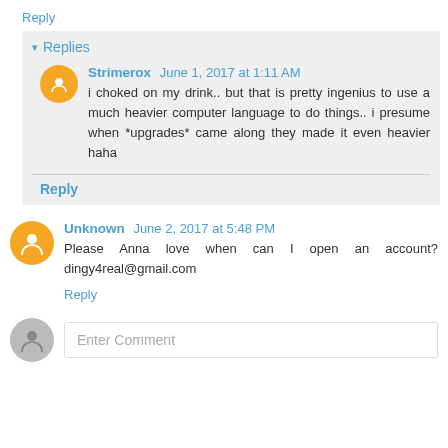Reply
Replies
Strimerox  June 1, 2017 at 1:11 AM
i choked on my drink.. but that is pretty ingenius to use a much heavier computer language to do things.. i presume when *upgrades* came along they made it even heavier haha
Reply
Unknown  June 2, 2017 at 5:48 PM
Please Anna love when can I open an account? dingy4real@gmail.com
Reply
Enter Comment